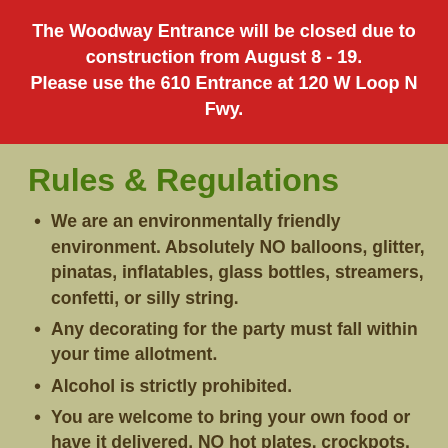The Woodway Entrance will be closed due to construction from August 8 - 19. Please use the 610 Entrance at 120 W Loop N Fwy.
Rules & Regulations
We are an environmentally friendly environment. Absolutely NO balloons, glitter, pinatas, inflatables, glass bottles, streamers, confetti, or silly string.
Any decorating for the party must fall within your time allotment.
Alcohol is strictly prohibited.
You are welcome to bring your own food or have it delivered. NO hot plates, crockpots, chafing dishes, sparkler candles or any other heating or warming device. There is no electrical connection